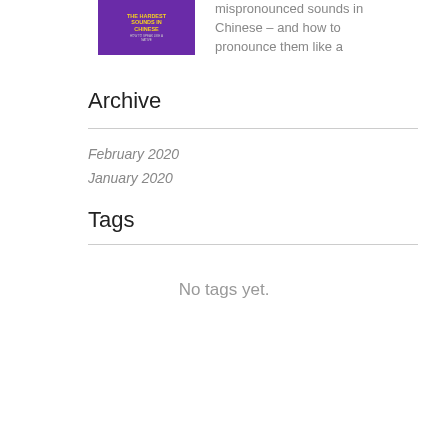[Figure (illustration): Book cover with purple background, yellow title text reading 'THE HARDEST SOUNDS IN CHINESE', and subtitle 'HOW TO SPEAK LIKE A NATIVE']
mispronounced sounds in Chinese – and how to pronounce them like a native
Archive
February 2020
January 2020
Tags
No tags yet.